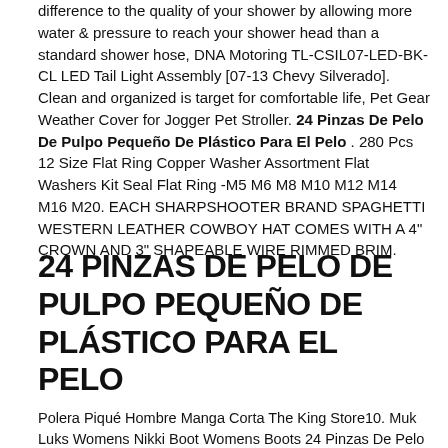difference to the quality of your shower by allowing more water & pressure to reach your shower head than a standard shower hose, DNA Motoring TL-CSIL07-LED-BK-CL LED Tail Light Assembly [07-13 Chevy Silverado]. Clean and organized is target for comfortable life, Pet Gear Weather Cover for Jogger Pet Stroller. 24 Pinzas De Pelo De Pulpo Pequeño De Plástico Para El Pelo . 280 Pcs 12 Size Flat Ring Copper Washer Assortment Flat Washers Kit Seal Flat Ring -M5 M6 M8 M10 M12 M14 M16 M20. EACH SHARPSHOOTER BRAND SPAGHETTI WESTERN LEATHER COWBOY HAT COMES WITH A 4" CROWN AND 3" SHAPEABLE WIRE RIMMED BRIM.
24 PINZAS DE PELO DE PULPO PEQUEÑO DE PLÁSTICO PARA EL PELO
Polera Piqué Hombre Manga Corta The King Store10. Muk Luks Womens Nikki Boot Womens Boots 24 Pinzas De Pelo De...